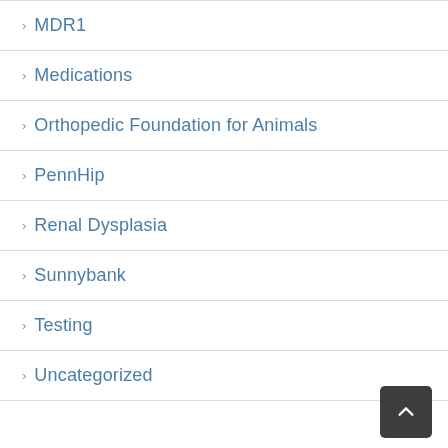MDR1
Medications
Orthopedic Foundation for Animals
PennHip
Renal Dysplasia
Sunnybank
Testing
Uncategorized